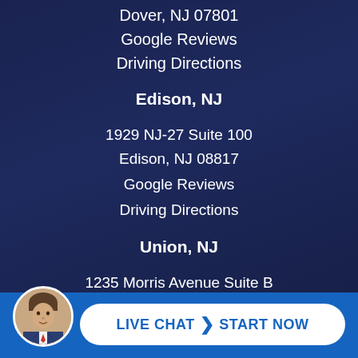Dover, NJ 07801
Google Reviews
Driving Directions
Edison, NJ
1929 NJ-27 Suite 100
Edison, NJ 08817
Google Reviews
Driving Directions
Union, NJ
1235 Morris Avenue Suite B
Union, NJ 07083
Google Reviews
Driving Directions
[Figure (photo): Circular avatar photo of a man in a suit with a red tie, positioned in the bottom-left corner of the live chat bar]
LIVE CHAT  START NOW